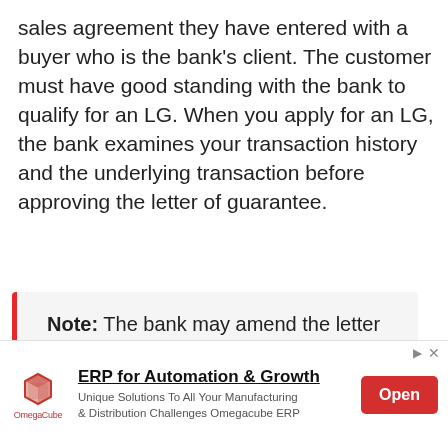sales agreement they have entered with a buyer who is the bank's client. The customer must have good standing with the bank to qualify for an LG. When you apply for an LG, the bank examines your transaction history and the underlying transaction before approving the letter of guarantee.
Note: The bank may amend the letter depending on the transaction and underlying asset. Review the letter before signing.
[Figure (other): Advertisement banner for OmegaCube ERP: logo with a red cube, title 'ERP for Automation & Growth', subtitle 'Unique Solutions To All Your Manufacturing & Distribution Challenges Omegacube ERP', and a red Open button.]